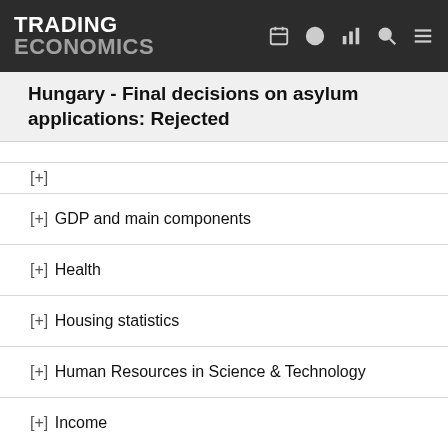TRADING ECONOMICS
Hungary - Final decisions on asylum applications: Rejected
[+]
[+] GDP and main components
[+] Health
[+] Housing statistics
[+] Human Resources in Science & Technology
[+] Income
[+] Information and Communication Technology (ICT)
[+] Interest rates
[+] International investment position